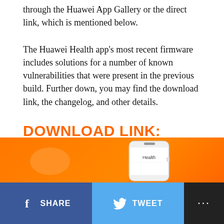through the Huawei App Gallery or the direct link, which is mentioned below.
The Huawei Health app's most recent firmware includes solutions for a number of known vulnerabilities that were present in the previous build. Further down, you may find the download link, the changelog, and other details.
DOWNLOAD LINK:
Huawei Health App V12.1.7.310 APK.
You may also get the Huawei Health app from the Huawei AppGallery:
[Figure (screenshot): Orange banner with Huawei Health app logo and phone screenshot]
[Figure (other): Social share bar with Facebook Share, Twitter Tweet, and more options buttons]